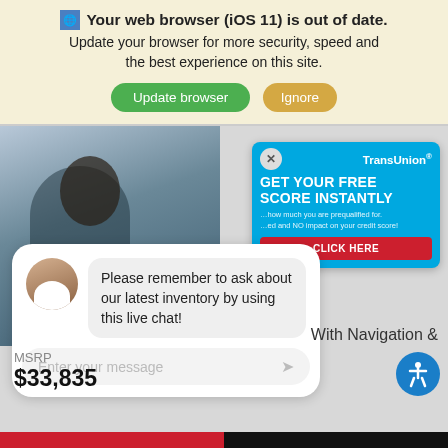Your web browser (iOS 11) is out of date. Update your browser for more security, speed and the best experience on this site.
[Figure (screenshot): Browser update warning banner with Update browser (green) and Ignore (tan) buttons]
[Figure (screenshot): TransUnion ad: GET YOUR FREE SCORE INSTANTLY with CLICK HERE button]
[Figure (screenshot): Live chat popup with avatar and message: Please remember to ask about our latest inventory by using this live chat! and Enter your message input]
With Navigation &
$33,835
Chat With us
Text Us